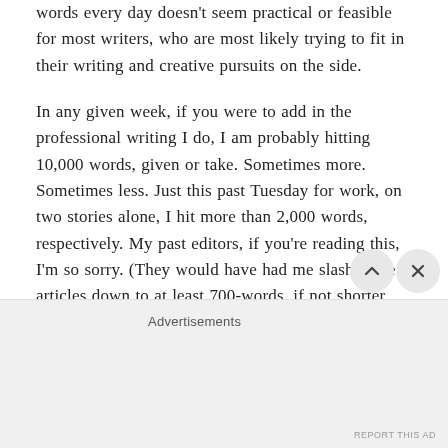words every day doesn't seem practical or feasible for most writers, who are most likely trying to fit in their writing and creative pursuits on the side.
In any given week, if you were to add in the professional writing I do, I am probably hitting 10,000 words, given or take. Sometimes more. Sometimes less. Just this past Tuesday for work, on two stories alone, I hit more than 2,000 words, respectively. My past editors, if you're reading this, I'm so sorry. (They would have had me slash those articles down to at least 700-words, if not shorter, and they would be right in so ordering.)
Advertisements